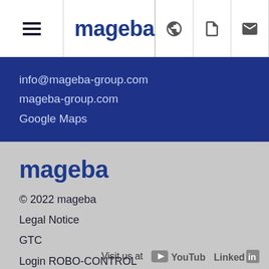[Figure (logo): mageba navigation bar with hamburger menu, mageba logo, globe icon, document icon, email icon, and user profile icon with badge showing 11]
info@mageba-group.com
mageba-group.com
Google Maps
[Figure (logo): mageba logo in blue]
© 2022 mageba
Legal Notice
GTC
Login ROBO-CONTROL
[Figure (logo): Visit us at YouTube and LinkedIn social media icons]